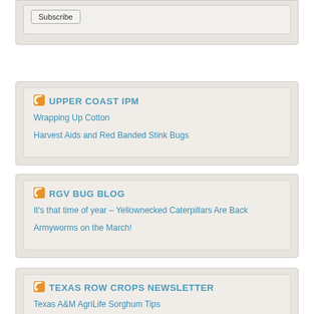Subscribe
UPPER COAST IPM
Wrapping Up Cotton
Harvest Aids and Red Banded Stink Bugs
RGV BUG BLOG
It's that time of year – Yellownecked Caterpillars Are Back
Armyworms on the March!
TEXAS ROW CROPS NEWSLETTER
Texas A&M AgriLife Sorghum Tips